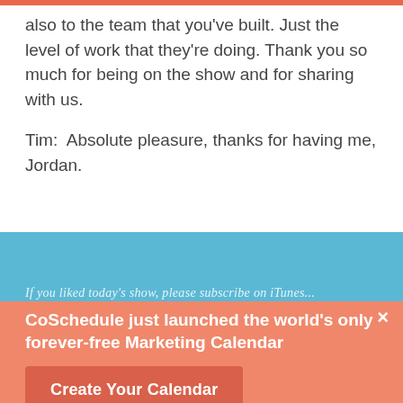also to the team that you've built. Just the level of work that they're doing. Thank you so much for being on the show and for sharing with us.
Tim:  Absolute pleasure, thanks for having me, Jordan.
[Figure (screenshot): Blue banner image with text 'If you liked today's show, please subscribe on iTunes...' partially visible]
CoSchedule just launched the world's only forever-free Marketing Calendar
Create Your Calendar